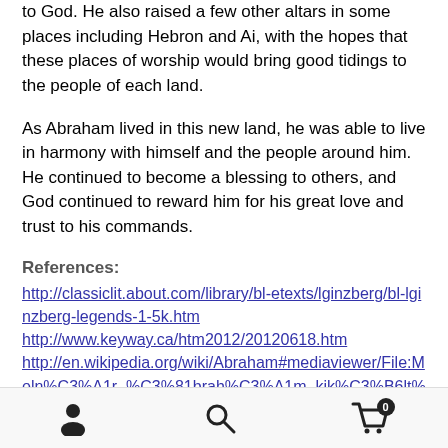to God. He also raised a few other altars in some places including Hebron and Ai, with the hopes that these places of worship would bring good tidings to the people of each land.
As Abraham lived in this new land, he was able to live in harmony with himself and the people around him. He continued to become a blessing to others, and God continued to reward him for his great love and trust to his commands.
References:
http://classiclit.about.com/library/bl-etexts/lginzberg/bl-lginzberg-legends-1-5k.htm
http://www.keyway.ca/htm2012/20120618.htm
http://en.wikipedia.org/wiki/Abraham#mediaviewer/File:Moln%C3%A1r_%C3%81brah%C3%A1m_kik%C3%B6lt%C3%B6z%C3%A9se_1850.jpghttp://en.wikipedia.org/wiki/Abraham
Navigation bar with person, search, and cart icons